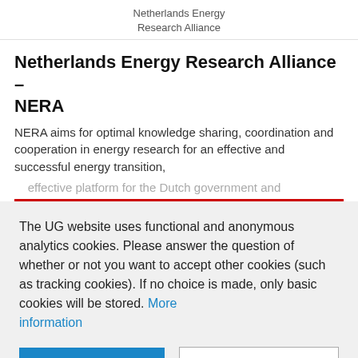Netherlands Energy Research Alliance
Netherlands Energy Research Alliance – NERA
NERA aims for optimal knowledge sharing, coordination and cooperation in energy research for an effective and successful energy transition,
The UG website uses functional and anonymous analytics cookies. Please answer the question of whether or not you want to accept other cookies (such as tracking cookies). If no choice is made, only basic cookies will be stored. More information
Accept all cookies
Manage preferences